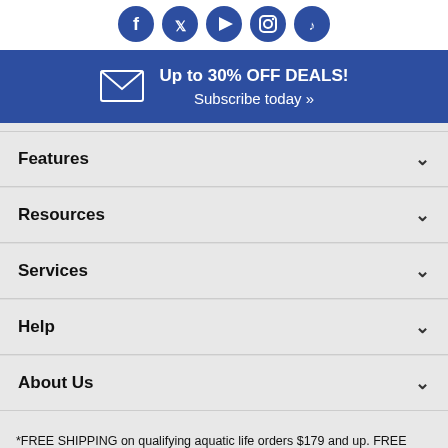[Figure (other): Row of 5 social media icons (Facebook, Twitter, YouTube, Instagram, TikTok) as blue circles]
Up to 30% OFF DEALS! Subscribe today »
Features
Resources
Services
Help
About Us
[Figure (logo): Bizrate CUSTOMER CERTIFIED badge dated 08/28/22]
*FREE SHIPPING on qualifying aquatic life orders $179 and up. FREE